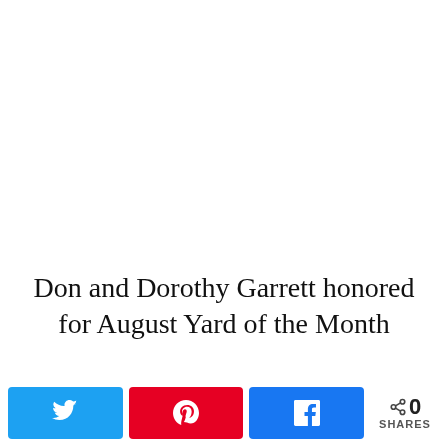Don and Dorothy Garrett honored for August Yard of the Month
A photo of Don and Dorothy Garrett honored...
Social share bar: Twitter, Pinterest, Facebook — 0 SHARES